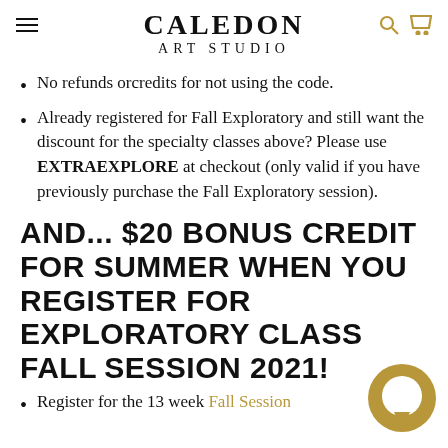CALEDON ART STUDIO
No refunds orcredits for not using the code.
Already registered for Fall Exploratory and still want the discount for the specialty classes above? Please use EXTRAEXPLORE at checkout (only valid if you have previously purchase the Fall Exploratory session).
AND... $20 BONUS CREDIT FOR SUMMER WHEN YOU REGISTER FOR EXPLORATORY CLASS FALL SESSION 2021!
Register for the 13 week Fall Session